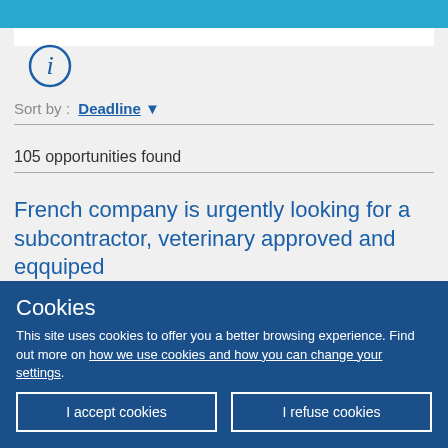Sort by : Deadline ▾
105 opportunities found
French company is urgently looking for a subcontractor, veterinary approved and eqquiped
Cookies
This site uses cookies to offer you a better browsing experience. Find out more on how we use cookies and how you can change your settings.
I accept cookies
I refuse cookies